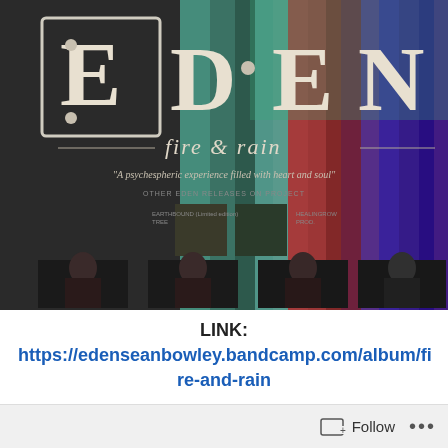[Figure (photo): Album cover for EDEN - fire & rain. Large stylized text 'EDEN' at top with decorative letters on textured colorful background (teal, red, purple, green stripes). Below: 'fire & rain' in italic serif font. Quote: 'A psychespheric experience filled with heart and soul'. Small thumbnails of other Eden releases shown. Bottom: four band member portraits in dark/moody black and white style.]
LINK: https://edenseanbowley.bandcamp.com/album/fire-and-rain
Follow ...